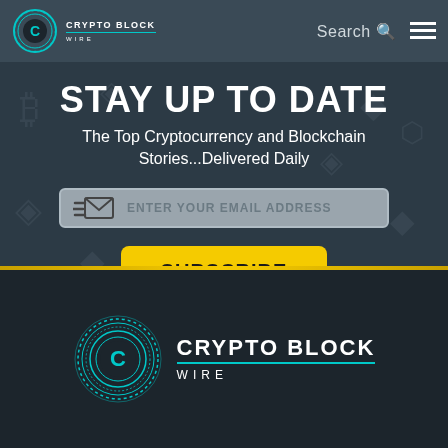CRYPTO BLOCK WIRE | Search ☰
STAY UP TO DATE
The Top Cryptocurrency and Blockchain Stories...Delivered Daily
[Figure (screenshot): Email subscription input field with envelope icon and placeholder text ENTER YOUR EMAIL ADDRESS]
SUBSCRIBE
Your email address will NEVER be shared, rented or sold.
[Figure (logo): Crypto Block Wire logo with teal circular emblem and brand name in white text on dark background]